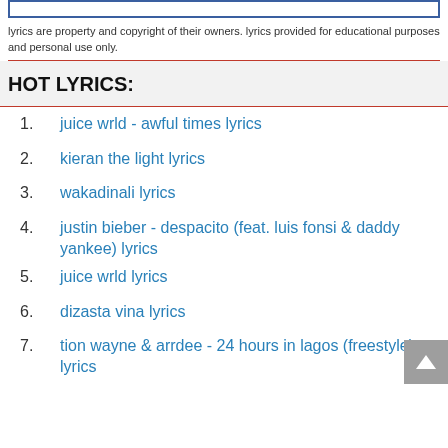lyrics are property and copyright of their owners. lyrics provided for educational purposes and personal use only.
HOT LYRICS:
juice wrld - awful times lyrics
kieran the light lyrics
wakadinali lyrics
justin bieber - despacito (feat. luis fonsi & daddy yankee) lyrics
juice wrld lyrics
dizasta vina lyrics
tion wayne & arrdee - 24 hours in lagos (freestyle) lyrics